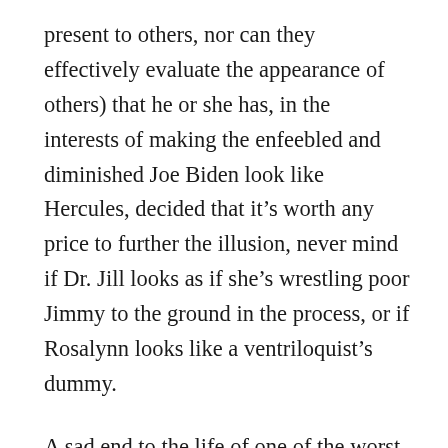present to others, nor can they effectively evaluate the appearance of others) that he or she has, in the interests of making the enfeebled and diminished Joe Biden look like Hercules, decided that it’s worth any price to further the illusion, never mind if Dr. Jill looks as if she’s wrestling poor Jimmy to the ground in the process, or if Rosalynn looks like a ventriloquist’s dummy.
A sad end to the life of one of the worst US Presidents of the 20th